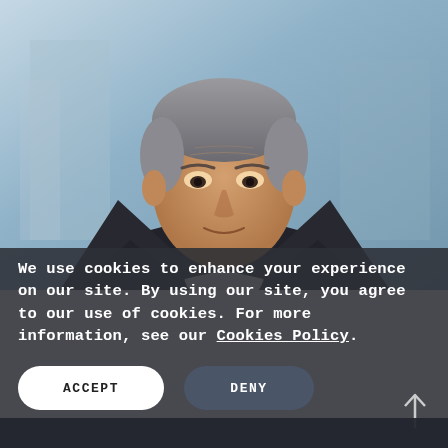[Figure (photo): Professional headshot of an older East Asian man with gray hair, wearing a dark suit and white shirt, against a blurred blue-gray office building background.]
We use cookies to enhance your experience on our site. By using our site, you agree to our use of cookies. For more information, see our Cookies Policy.
ACCEPT
DENY